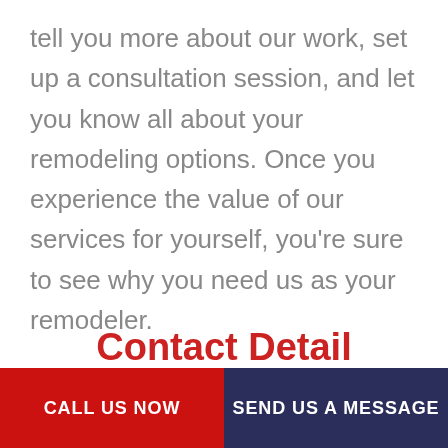tell you more about our work, set up a consultation session, and let you know all about your remodeling options. Once you experience the value of our services for yourself, you’re sure to see why you need us as your remodeler.
Contact us today to get started. The only thing you’ll regret is that you didn’t do it sooner.
Contact Detail
CALL US NOW | SEND US A MESSAGE